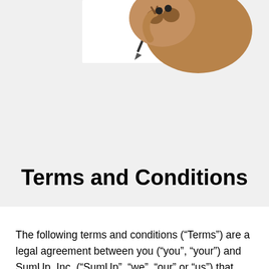[Figure (illustration): Partial illustration of a cartoon animal (sloth or similar creature in brown tones) with a pencil, visible at top of page on gray background]
Terms and Conditions
The following terms and conditions (“Terms”) are a legal agreement between you (“you”, “your”) and SumUp, Inc. (“SumUp”, “we”, “our” or “us”) that governs your use of our